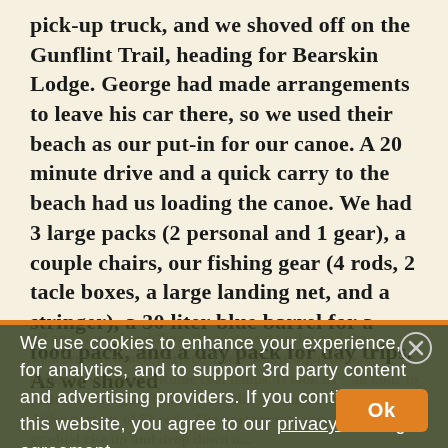pick-up truck, and we shoved off on the Gunflint Trail, heading for Bearskin Lodge. George had made arrangements to leave his car there, so we used their beach as our put-in for our canoe. A 20 minute drive and a quick carry to the beach had us loading the canoe. We had 3 large packs (2 personal and 1 gear), a couple chairs, our fishing gear (4 rods, 2 tacle boxes, a large landing net, and a stringer), a 30 liter blue barrel for a food pack, and a day pack for day trips. As we shoved
off and started paddling, the water was calm and the weather was nearly perfect. There was a slight breeze, bringing in some welcome cool temps. It took us ~ an hour to paddle the length of East Bearskin. We found the portage to Alder portage of 52 rods. The portage was very pretty with a gradual rise up and drop down a...
We use cookies to enhance your experience, for analytics, and to support 3rd party content and advertising providers. If you continue using this website, you agree to our privacy and legal agreement.